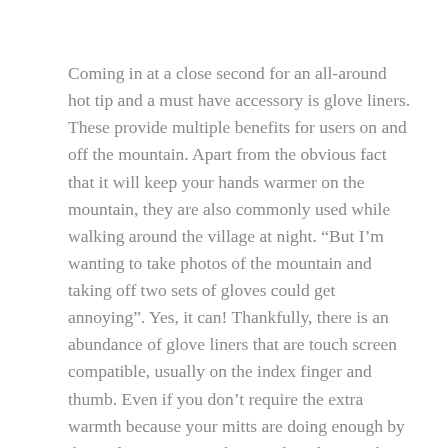Coming in at a close second for an all-around hot tip and a must have accessory is glove liners. These provide multiple benefits for users on and off the mountain. Apart from the obvious fact that it will keep your hands warmer on the mountain, they are also commonly used while walking around the village at night. “But I’m wanting to take photos of the mountain and taking off two sets of gloves could get annoying”. Yes, it can! Thankfully, there is an abundance of glove liners that are touch screen compatible, usually on the index finger and thumb. Even if you don’t require the extra warmth because your mitts are doing enough by themselves, getting a thinner glove liner with touch screen